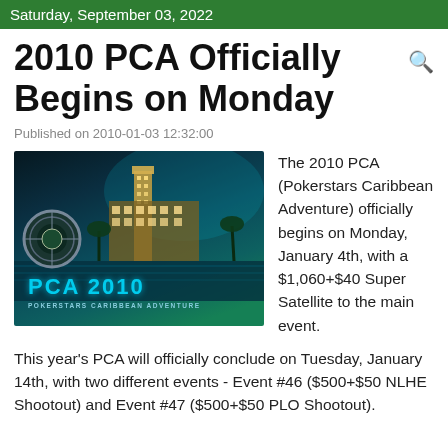Saturday, September 03, 2022
2010 PCA Officially Begins on Monday
Published on 2010-01-03 12:32:00
[Figure (photo): PCA 2010 - PokerStars Caribbean Adventure promotional image showing a resort building at night with a poker chip and the text 'PCA 2010 POKERSTARS CARIBBEAN ADVENTURE' in cyan lettering]
The 2010 PCA (Pokerstars Caribbean Adventure) officially begins on Monday, January 4th, with a $1,060+$40 Super Satellite to the main event.
This year's PCA will officially conclude on Tuesday, January 14th, with two different events - Event #46 ($500+$50 NLHE Shootout) and Event #47 ($500+$50 PLO Shootout).